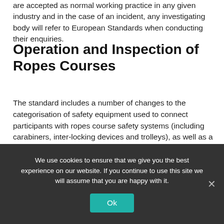are accepted as normal working practice in any given industry and in the case of an incident, any investigating body will refer to European Standards when conducting their enquiries.
Operation and Inspection of Ropes Courses
The standard includes a number of changes to the categorisation of safety equipment used to connect participants with ropes course safety systems (including carabiners, inter-locking devices and trolleys), as well as a newly defined set of supervision levels. When looking at Low ropes specifically important changes in the new standard will include updated requirements for the inspection, testing and identification of specific equipment used, including:
Wire ropes
We use cookies to ensure that we give you the best experience on our website. If you continue to use this site we will assume that you are happy with it.